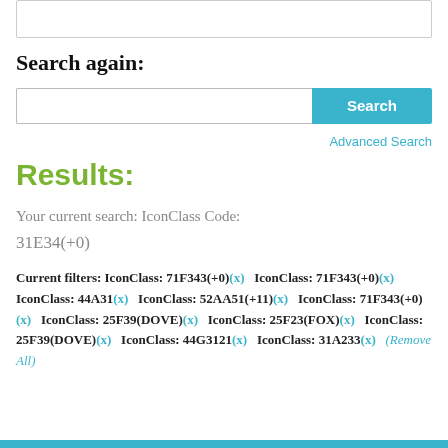[Figure (screenshot): Top partial UI box/input area cropped at top of page]
Search again:
[Figure (screenshot): Search input box with Search button (cyan/teal)]
Advanced Search
Results:
Your current search: IconClass Code: 31E34(+0)
Current filters: IconClass: 71F343(+0)(x)   IconClass: 71F343(+0)(x)   IconClass: 44A31(x)   IconClass: 52AA51(+11)(x)   IconClass: 71F343(+0)(x)   IconClass: 25F39(DOVE)(x)   IconClass: 25F23(FOX)(x)   IconClass: 25F39(DOVE)(x)   IconClass: 44G3121(x)   IconClass: 31A233(x)   (Remove All)